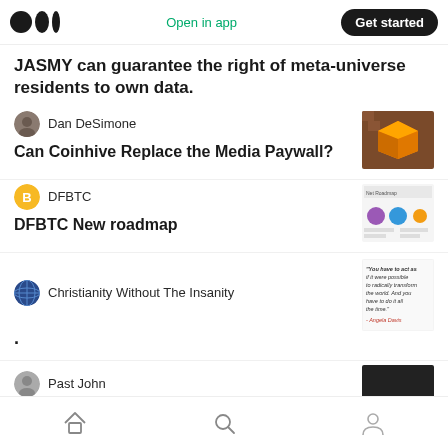Open in app | Get started
JASMY can guarantee the right of meta-universe residents to own data.
Dan DeSimone
Can Coinhive Replace the Media Paywall?
DFBTC
DFBTC New roadmap
Christianity Without The Insanity
·
Past John
Home | Search | Profile